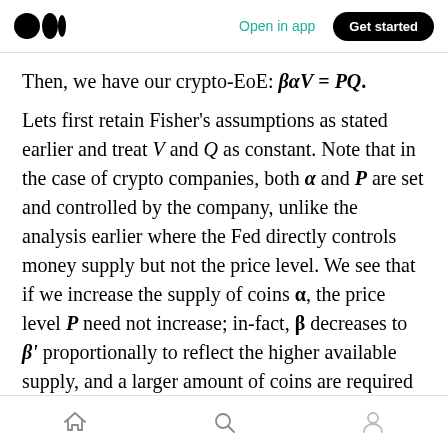Medium logo | Open in app | Get started
Then, we have our crypto-EoE: βαV = PQ.
Lets first retain Fisher's assumptions as stated earlier and treat V and Q as constant. Note that in the case of crypto companies, both α and P are set and controlled by the company, unlike the analysis earlier where the Fed directly controls money supply but not the price level. We see that if we increase the supply of coins α, the price level P need not increase; in-fact, β decreases to β' proportionally to reflect the higher available supply, and a larger amount of coins are required
Home | Search | Profile